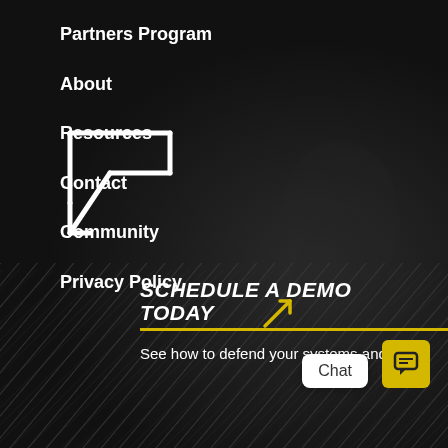Partners Program
About
Resources
Contact
Community
Privacy Policy
[Figure (logo): White outline logo mark resembling a stylized letter R or arrow shape, bottom-left area]
SCHEDULE A DEMO TODAY
See how to defend your systems and